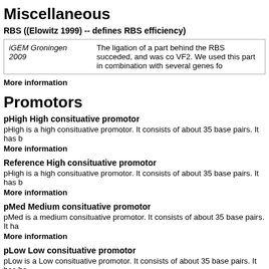Miscellaneous
RBS ((Elowitz 1999) -- defines RBS efficiency)
| iGEM Groningen 2009 | The ligation of a part behind the RBS succeded, and was co VF2. We used this part in combination with several genes fo |
More information
Promotors
pHigh High consituative promotor
pHigh is a high consituative promotor. It consists of about 35 base pairs. It has b
More information
Reference High consituative promotor
pHigh is a high consituative promotor. It consists of about 35 base pairs. It has b
More information
pMed Medium consituative promotor
pMed is a medium consituative promotor. It consists of about 35 base pairs. It ha
More information
pLow Low consituative promotor
pLow is a Low consituative promotor. It consists of about 35 base pairs. It has be
More information